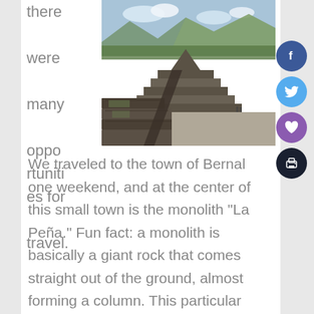there were many opportunities for travel.
[Figure (photo): Aerial view of ancient Mesoamerican pyramids (Teotihuacan) with stepped stone structures, a wide plaza, and mountains in the background under a partly cloudy sky.]
We traveled to the town of Bernal one weekend, and at the center of this small town is the monolith "La Peña." Fun fact: a monolith is basically a giant rock that comes straight out of the ground, almost forming a column. This particular monolith is said to be the third largest in the world. We only made it about half the way up or so